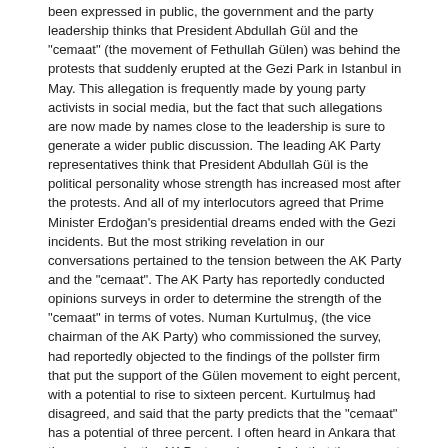been expressed in public, the government and the party leadership thinks that President Abdullah Gül and the "cemaat" (the movement of Fethullah Gülen) was behind the protests that suddenly erupted at the Gezi Park in Istanbul in May. This allegation is frequently made by young party activists in social media, but the fact that such allegations are now made by names close to the leadership is sure to generate a wider public discussion. The leading AK Party representatives think that President Abdullah Gül is the political personality whose strength has increased most after the protests. And all of my interlocutors agreed that Prime Minister Erdoğan's presidential dreams ended with the Gezi incidents. But the most striking revelation in our conversations pertained to the tension between the AK Party and the "cemaat". The AK Party has reportedly conducted opinions surveys in order to determine the strength of the "cemaat" in terms of votes. Numan Kurtulmuş, (the vice chairman of the AK Party) who commissioned the survey, had reportedly objected to the findings of the pollster firm that put the support of the Gülen movement to eight percent, with a potential to rise to sixteen percent. Kurtulmuş had disagreed, and said that the party predicts that the "cemaat" has a potential of three percent. I often heard in Ankara that the reason why the AK Party no longer feels that the support of the "cemaat" is of crucial importance to secure is this estimate of its vote potential.
BELGE: DOES THE ERGENEKON VERDICTS MEAN THAT WE HAVE PURGED THE COUP MENTALITY?
Murat Belge in Taraf writes that what has ultimately been on trial in Silivri (the site of the Ergenekon trial) was the mentality that has legitimized coups.